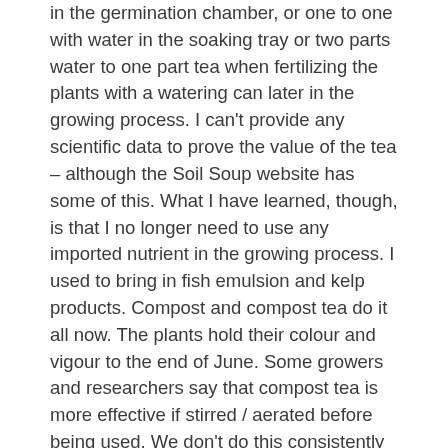in the germination chamber, or one to one with water in the soaking tray or two parts water to one part tea when fertilizing the plants with a watering can later in the growing process. I can't provide any scientific data to prove the value of the tea – although the Soil Soup website has some of this. What I have learned, though, is that I no longer need to use any imported nutrient in the growing process. I used to bring in fish emulsion and kelp products. Compost and compost tea do it all now. The plants hold their colour and vigour to the end of June. Some growers and researchers say that compost tea is more effective if stirred / aerated before being used. We don't do this consistently and find the tea works well. If you are using cattle, pig or chicken compost tea, the ratios need to be adjusted.
I've twice submitted our growing mix for scientific